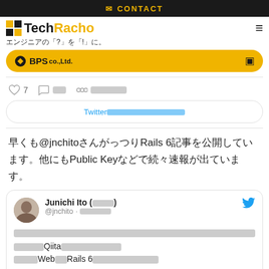CONTACT
[Figure (logo): TechRacho logo with checkered flag icon]
エンジニアの「?」を「!」に。
[Figure (logo): BPS co.,Ltd. banner in yellow]
♡ 7  💬 [redacted]  🔗 [redacted]
Twitter[redacted]
早くも@jnchitoさんがっつりRails 6記事を公開しています。他にもPublic Keyなどで続々速報が出ています。
[Figure (screenshot): Tweet from Junichi Ito (@jnchito) with redacted text about Qiita and Rails 6 and Web content]